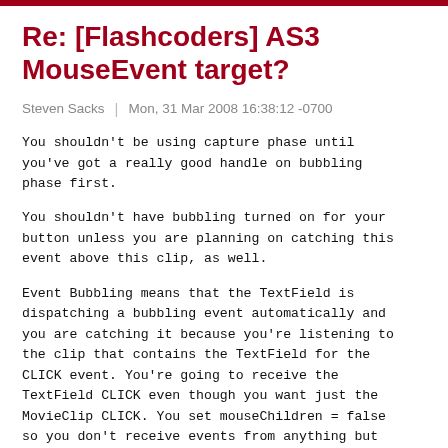Re: [Flashcoders] AS3 MouseEvent target?
Steven Sacks | Mon, 31 Mar 2008 16:38:12 -0700
You shouldn't be using capture phase until you've got a really good handle on bubbling phase first.
You shouldn't have bubbling turned on for your button unless you are planning on catching this event above this clip, as well.
Event Bubbling means that the TextField is dispatching a bubbling event automatically and you are catching it because you're listening to the clip that contains the TextField for the CLICK event. You're going to receive the TextField CLICK even though you want just the MovieClip CLICK. You set mouseChildren = false so you don't receive events from anything but